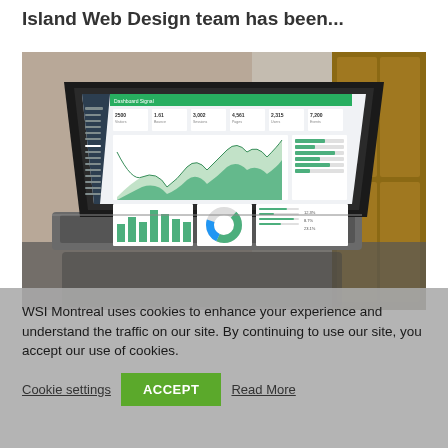Island Web Design team has been...
[Figure (photo): A laptop on a desk displaying a web analytics dashboard with area charts, donut chart, and various metrics. Background shows a wooden cabinet and glass wall.]
WSI Montreal uses cookies to enhance your experience and understand the traffic on our site. By continuing to use our site, you accept our use of cookies.
Cookie settings  ACCEPT  Read More